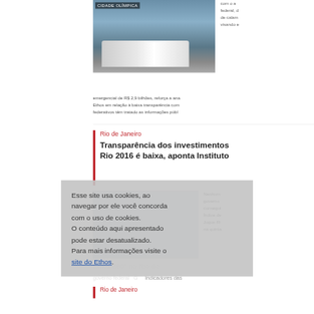[Figure (photo): Photo of a tram/light rail vehicle on a street, with a sign reading CIDADE OLÍMPICA]
com o a federal, d de calam visando e
emergencial de R$ 2,9 bilhões, reforça a ana Ethos em relação à baixa transparência com federativos têm tratado as informações públ
Rio de Janeiro
Transparência dos investimentos Rio 2016 é baixa, aponta Instituto
Nenhum governo consegui Índice de Jogos Ri na quinta
Esse site usa cookies, ao navegar por ele você concorda com o uso de cookies. O conteúdo aqui apresentado pode estar desatualizado. Para mais informações visite o site do Ethos.
Ethos 360° no Rio de
governo federal  G Indicadores das
Rio de Janeiro